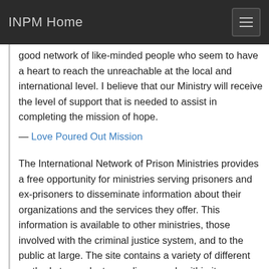INPM Home
good network of like-minded people who seem to have a heart to reach the unreachable at the local and international level. I believe that our Ministry will receive the level of support that is needed to assist in completing the mission of hope.
— Love Poured Out Mission
The International Network of Prison Ministries provides a free opportunity for ministries serving prisoners and ex-prisoners to disseminate information about their organizations and the services they offer. This information is available to other ministries, those involved with the criminal justice system, and to the public at large. The site contains a variety of different methods to conduct an online search within its database to allow for easy access to relevant ministries.